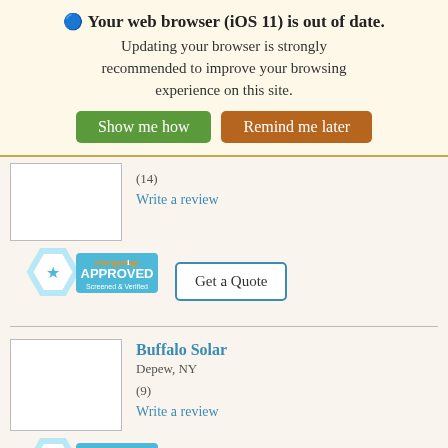🔵 Your web browser (iOS 11) is out of date. Updating your browser is strongly recommended to improve your browsing experience on this site.
Show me how | Remind me later
(14)
Write a review
[Figure (logo): EnergySage Approved Screened & Verified badge (hexagon shape with star)]
Get a Quote
Buffalo Solar
Depew, NY
(9)
Write a review
[Figure (logo): EnergySage Approved Screened & Verified badge (hexagon shape with star)]
Get a Quote